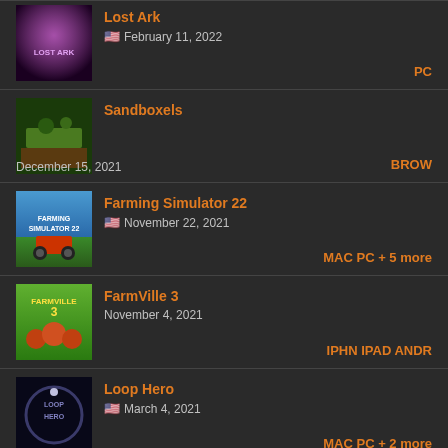Lost Ark | February 11, 2022 | PC
Sandboxels | December 15, 2021 | BROW
Farming Simulator 22 | November 22, 2021 | MAC PC + 5 more
FarmVille 3 | November 4, 2021 | IPHN IPAD ANDR
Loop Hero | March 4, 2021 | MAC PC + 2 more
Sea Salt